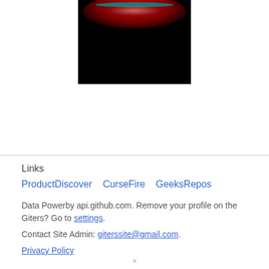[Figure (photo): A dark image with a red glowing arc/planet and teal highlights at the top, black background below.]
Links
ProductDiscover    CurseFire    GeeksRepos
Data Powerby api.github.com. Remove your profile on the Giters? Go to settings.
Contact Site Admin: giterssite@gmail.com.
Privacy Policy
×